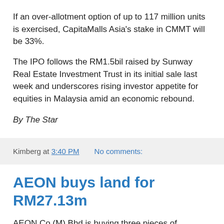If an over-allotment option of up to 117 million units is exercised, CapitaMalls Asia's stake in CMMT will be 33%.
The IPO follows the RM1.5bil raised by Sunway Real Estate Investment Trust in its initial sale last week and underscores rising investor appetite for equities in Malaysia amid an economic rebound.
By The Star
Kimberg at 3:40 PM   No comments:
AEON buys land for RM27.13m
AEON Co (M) Bhd is buying three pieces of leasehold land and two parcels of state land in Perak, measuring a total 6.9ha, for RM27.13 million.